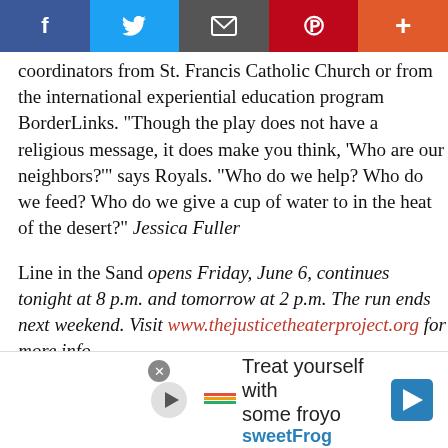[Figure (infographic): Social sharing bar with Facebook (blue), Twitter (light blue), Email (grey), Pinterest (red), and Plus (orange-red) buttons]
coordinators from St. Francis Catholic Church or from the international experiential education program BorderLinks. "Though the play does not have a religious message, it does make you think, 'Who are our neighbors?'" says Royals. "Who do we help? Who do we feed? Who do we give a cup of water to in the heat of the desert?" Jessica Fuller
Line in the Sand opens Friday, June 6, continues tonight at 8 p.m. and tomorrow at 2 p.m. The run ends next weekend. Visit www.thejusticetheaterproject.org for more info.
Cary
N.C. Symphony + Percussion
Koka Booth
[Figure (infographic): Advertisement overlay: 'Treat yourself with some froyo - sweetFrog' with close button, play icon, brand logo, and navigation arrow]